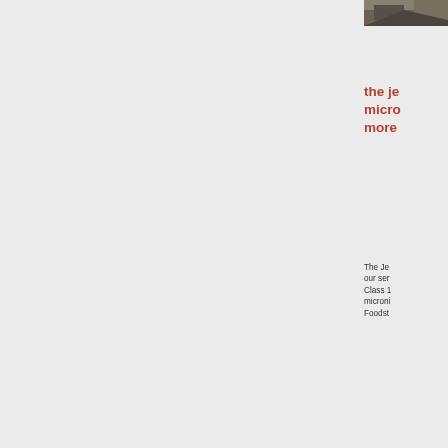[Figure (photo): Partial photograph visible at top right corner, appears to be industrial or laboratory equipment, dark tones]
the je
micro
more
The Je
our ser
Class 1
microni
Foodst
[Figure (photo): Photograph of laboratory or industrial equipment, showing mechanical components with cables or tubes, black and white or sepia toned]
pulve
metho